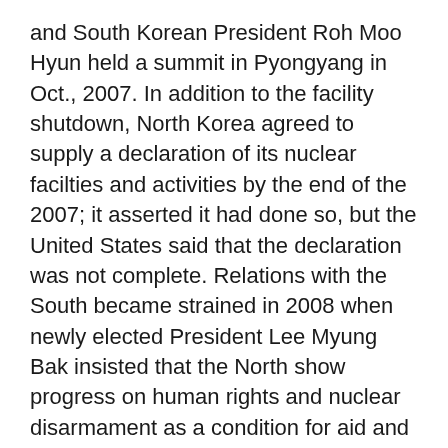and South Korean President Roh Moo Hyun held a summit in Pyongyang in Oct., 2007. In addition to the facility shutdown, North Korea agreed to supply a declaration of its nuclear facilties and activities by the end of the 2007; it asserted it had done so, but the United States said that the declaration was not complete. Relations with the South became strained in 2008 when newly elected President Lee Myung Bak insisted that the North show progress on human rights and nuclear disarmament as a condition for aid and improvements in relations.
In May, North Korea released documents relating to its nuclear programs; also that month the United States announced that it would resume food aid to North Korea. The following month North Korea finally submitted a declaration of its nuclear weapons activities to the participants in the six-party talks, and the talks resumed in July. The next month, however, North Korea said it was stopping its disabling of its nuclear facilities because the